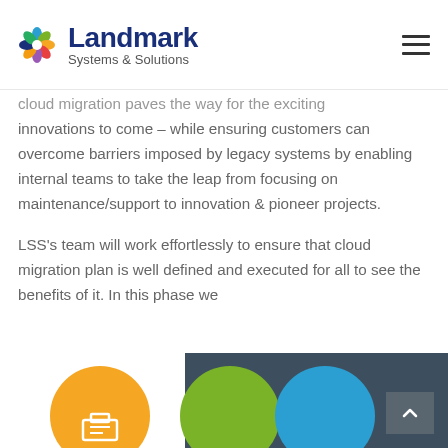Landmark Systems & Solutions
cloud migration paves the way for the exciting innovations to come – while ensuring customers can overcome barriers imposed by legacy systems by enabling internal teams to take the leap from focusing on maintenance/support to innovation & pioneer projects.
LSS's team will work effortlessly to ensure that cloud migration plan is well defined and executed for all to see the benefits of it. In this phase we
[Figure (illustration): Partially visible colorful circles (orange, green, blue) at the bottom of the page against a dark panel background, representing service or feature icons.]